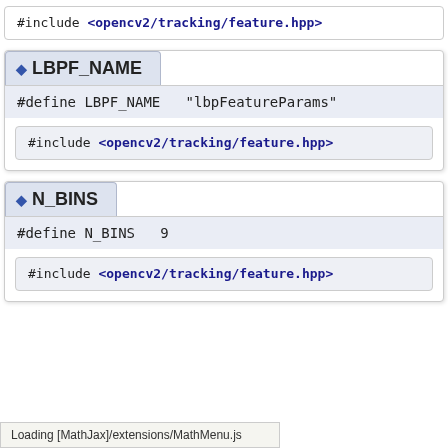#include <opencv2/tracking/feature.hpp>
◆ LBPF_NAME
#define LBPF_NAME   "lbpFeatureParams"
#include <opencv2/tracking/feature.hpp>
◆ N_BINS
#define N_BINS   9
#include <opencv2/tracking/feature.hpp>
Loading [MathJax]/extensions/MathMenu.js